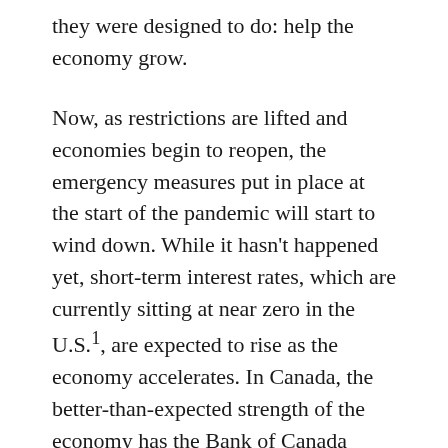they were designed to do: help the economy grow.
Now, as restrictions are lifted and economies begin to reopen, the emergency measures put in place at the start of the pandemic will start to wind down. While it hasn't happened yet, short-term interest rates, which are currently sitting at near zero in the U.S.1, are expected to rise as the economy accelerates. In Canada, the better-than-expected strength of the economy has the Bank of Canada considering raising interest rates in 2022 as opposed to 2023, which was the initial target.2 The market doesn't like change, especially this kind of change. Another thing the market doesn't like: raising taxes. President Biden has proposed